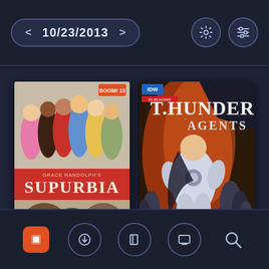10/23/2013
[Figure (screenshot): Comic book cover: Supurbia #13 (BOOM Studios) - showing group of superhero characters, red banner with title SUPURBIA]
[Figure (screenshot): Comic book cover: T.H.U.N.D.E.R. Agents (IDW) - showing a white-suited superhero character in action pose with explosions]